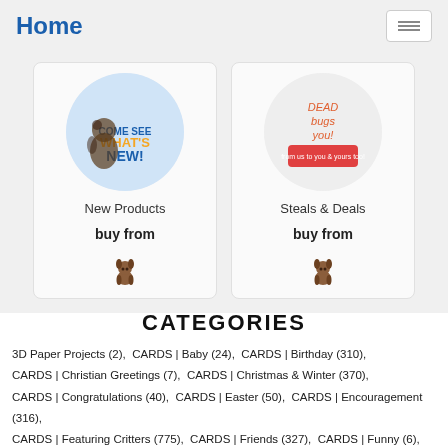Home
[Figure (illustration): Two product cards: 'New Products' with a cartoon dog circle image and buy from icon, and 'Steals & Deals' with text/drawing circle image and buy from icon]
CATEGORIES
3D Paper Projects (2),  CARDS | Baby (24),  CARDS | Birthday (310),  CARDS | Christian Greetings (7),  CARDS | Christmas & Winter (370),  CARDS | Congratulations (40),  CARDS | Easter (50),  CARDS | Encouragement (316),  CARDS | Featuring Critters (775),  CARDS | Friends (327),  CARDS | Funny (6),